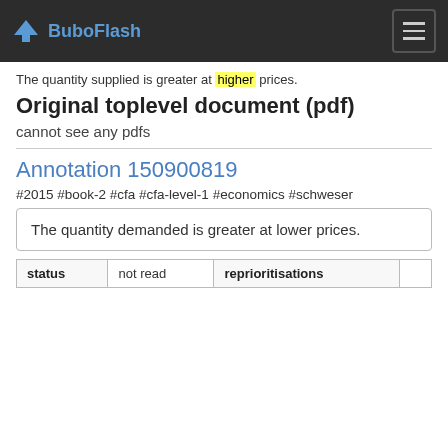BuboFlash
The quantity supplied is greater at higher prices.
Original toplevel document (pdf)
cannot see any pdfs
Annotation 150900819
#2015 #book-2 #cfa #cfa-level-1 #economics #schweser
The quantity demanded is greater at lower prices.
| status | not read | reprioritisations |
| --- | --- | --- |